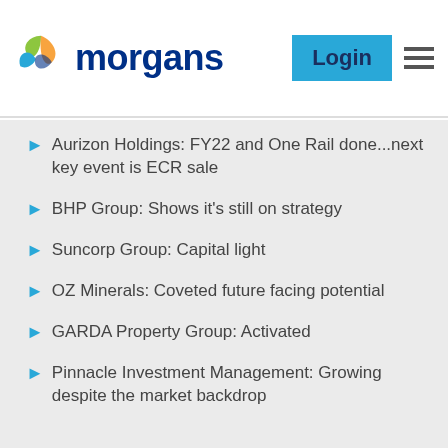morgans | Login
Aurizon Holdings: FY22 and One Rail done...next key event is ECR sale
BHP Group: Shows it's still on strategy
Suncorp Group: Capital light
OZ Minerals: Coveted future facing potential
GARDA Property Group: Activated
Pinnacle Investment Management: Growing despite the market backdrop